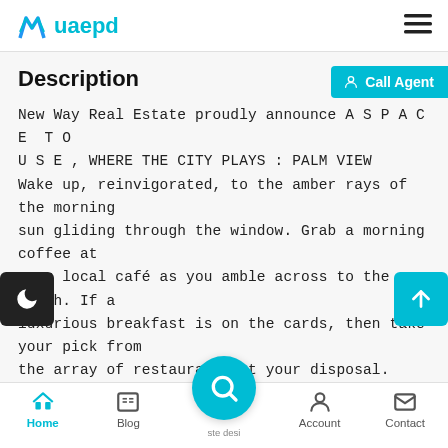uaepd
Description
New Way Real Estate proudly announce A S P A C E T O U S E , WHERE THE CITY PLAYS : PALM VIEW Wake up, reinvigorated, to the amber rays of the morning sun gliding through the window. Grab a morning coffee at your local café as you amble across to the beach. If a luxurious breakfast is on the cards, then take your pick from the array of restaurants at your disposal. Retail therapy can quite easily be accessed, courtesy of the newly opened Nakheel Mall or renowned Mall of the Emirates An exclusive collection of 19 apartment layouts catered to convenience 263 panoramic sea and cityscape view ments for a truly unique perspective Tailor make y experience with a dedicate and private entrance
Home  Blog  Account  Contact